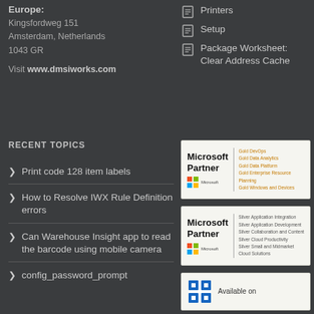Europe:
Kingsfordweg 151
Amsterdam, Netherlands
1043 GR
Visit www.dmsiworks.com
Printers
Setup
Package Worksheet: Clear Address Cache
RECENT TOPICS
Print code 128 item labels
How to Resolve IWX Rule Definition errors
Can Warehouse Insight app to read the barcode using mobile camera
config_password_prompt
[Figure (logo): Microsoft Partner Gold badge with Gold DevOps, Gold Data Analytics, Gold Data Platform, Gold Enterprise Resource Planning, Gold Windows and Devices]
[Figure (logo): Microsoft Partner Silver badge with Silver Application Integration, Silver Application Development, Silver Collaboration and Content, Silver Cloud Productivity, Silver Small and Midmarket Cloud Solutions]
[Figure (logo): Available on store badge with blue Windows-style icon]